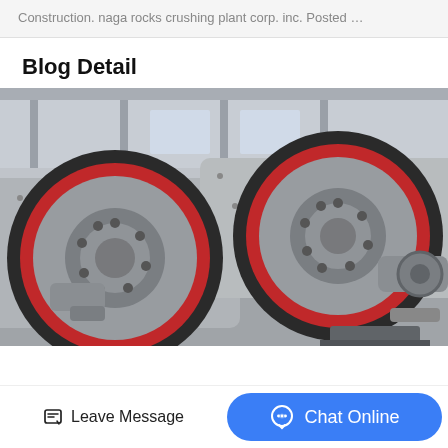Construction. naga rocks crushing plant corp. inc. Posted …
Blog Detail
[Figure (photo): Industrial ball mill machinery with large red and gray gear rings, set in a factory environment. Multiple ball mills with large ring gears visible.]
Leave Message
Chat Online